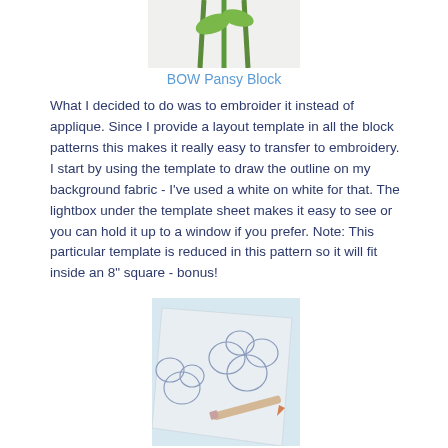[Figure (photo): Close-up photo of green plant stems and leaves on a white fluffy background, partially visible at the top of the page.]
BOW Pansy Block
What I decided to do was to embroider it instead of applique. Since I provide a layout template in all the block patterns this makes it really easy to transfer to embroidery. I start by using the template to draw the outline on my background fabric - I've used a white on white for that. The lightbox under the template sheet makes it easy to see or you can hold it up to a window if you prefer. Note: This particular template is reduced in this pattern so it will fit inside an 8" square - bonus!
[Figure (photo): Photo of fabric with pencil-drawn pansy outlines on a lightbox, with a colored pencil resting on the fabric.]